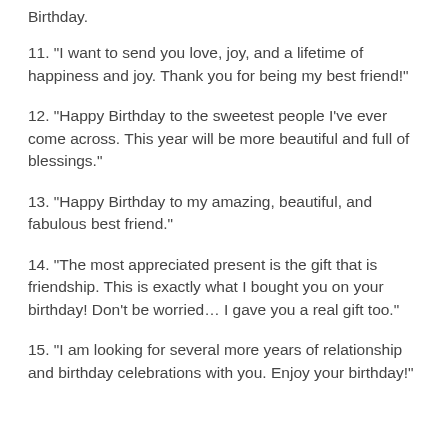Birthday.
11. "I want to send you love, joy, and a lifetime of happiness and joy. Thank you for being my best friend!"
12. "Happy Birthday to the sweetest people I've ever come across. This year will be more beautiful and full of blessings."
13. "Happy Birthday to my amazing, beautiful, and fabulous best friend."
14. "The most appreciated present is the gift that is friendship. This is exactly what I bought you on your birthday! Don't be worried… I gave you a real gift too."
15. "I am looking for several more years of relationship and birthday celebrations with you. Enjoy your birthday!"